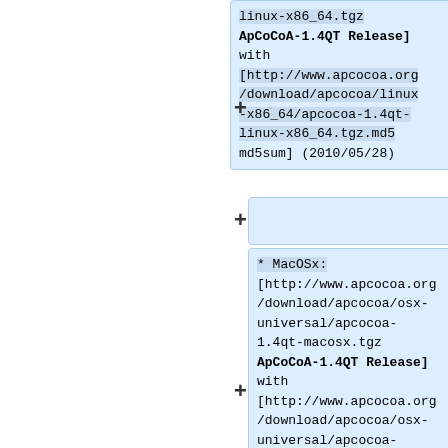linux-x86_64.tgz ApCoCoA-1.4QT Release] with [http://www.apcocoa.org/download/apcocoa/linux-x86_64/apcocoa-1.4qt-linux-x86_64.tgz.md5 md5sum] (2010/05/28)
* MacOSx: [http://www.apcocoa.org/download/apcocoa/osx-universal/apcocoa-1.4qt-macosx.tgz ApCoCoA-1.4QT Release] with [http://www.apcocoa.org/download/apcocoa/osx-universal/apcocoa-1.4qt-macosx.tgz.md5